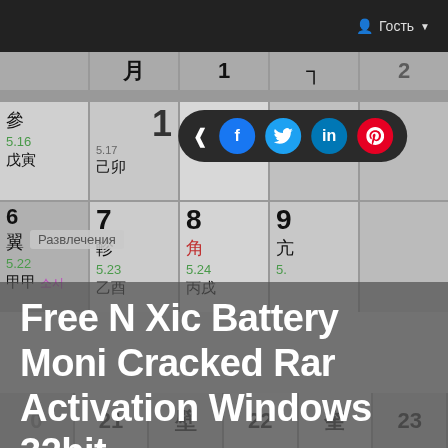Гость
[Figure (screenshot): Screenshot of a website showing a Chinese/Korean calendar in the background with a share bar overlay (share, Facebook, Twitter, LinkedIn, Pinterest buttons), a category label 'Развлечения', and a bold white headline 'Free N Xic Battery Moni Cracked Rar Activation Windows 32bit' overlaid on the lower portion of the image.]
Развлечения
Free N Xic Battery Moni Cracked Rar Activation Windows 32bit